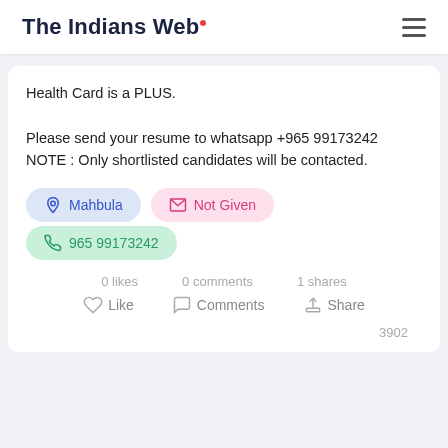The Indians Web
Health Card is a PLUS.

Please send your resume to whatsapp +965 99173242
NOTE : Only shortlisted candidates will be contacted.
[Figure (infographic): Three badge buttons: Mahbula (blue, location icon), Not Given (pink, email icon), 965 99173242 (green, phone icon)]
0 likes   0 comments   1 shares
Like   Comments   Share
3902